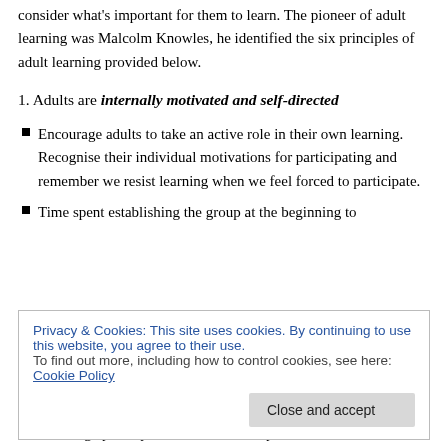When planning any training or extension events for adults consider what's important for them to learn. The pioneer of adult learning was Malcolm Knowles, he identified the six principles of adult learning provided below.
1. Adults are internally motivated and self-directed
Encourage adults to take an active role in their own learning. Recognise their individual motivations for participating and remember we resist learning when we feel forced to participate.
Time spent establishing the group at the beginning to
Privacy & Cookies: This site uses cookies. By continuing to use this website, you agree to their use. To find out more, including how to control cookies, see here: Cookie Policy
Encourage participants to share and explore ideas